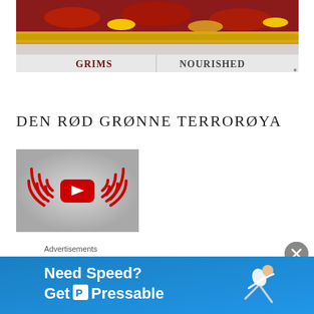[Figure (photo): Decorative Indian/South Asian jewelry and textiles displayed on a table or surface, with gold embroidery and ornaments. A banner below shows two labels: 'GRIMS' on the left and 'NOURISHED' on the right.]
DEN RØD GRØNNE TERRORØYA
[Figure (screenshot): YouTube video thumbnail with red WiFi/signal waves radiating from a YouTube play button logo on a grey background.]
Advertisements
[Figure (screenshot): Advertisement banner: 'Need Speed? Get P Pressable' on a blue background with a person in motion.]